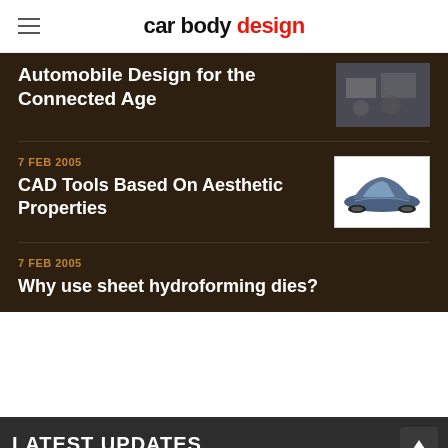car body design
Automobile Design for the Connected Age
7 FEB 2005 — CAD Tools Based On Aesthetic Properties
7 FEB 2005 — Why use sheet hydroforming dies?
LATEST UPDATES
McLaren reveals track-only Solus GT